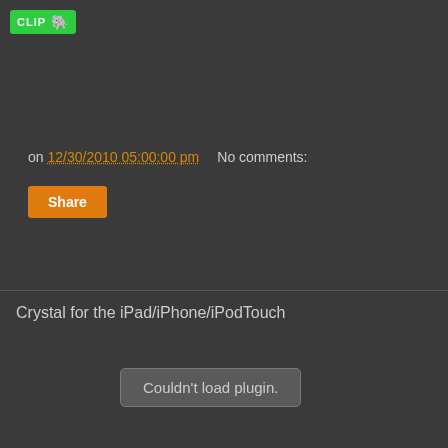CLIP [Evernote elephant icon]
on 12/30/2010 05:00:00 pm   No comments:
Share
Crystal for the iPad/iPhone/iPodTouch
Couldn't load plugin.